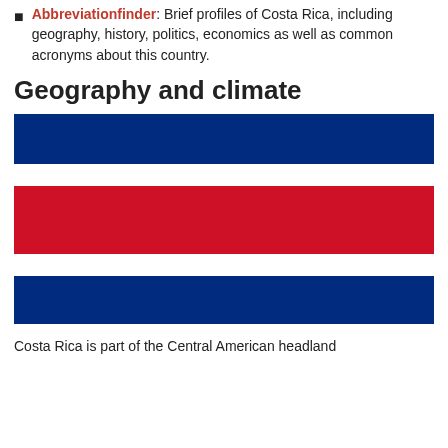Abbreviationfinder: Brief profiles of Costa Rica, including geography, history, politics, economics as well as common acronyms about this country.
Geography and climate
[Figure (illustration): Flag of Costa Rica — three horizontal stripes: blue (top), white, red (wide center), white, blue (bottom)]
Costa Rica is part of the Central American headland